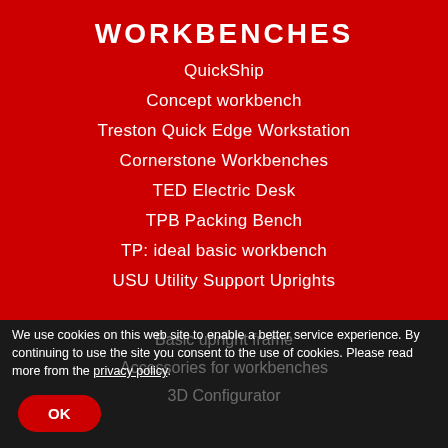WORKBENCHES
QuickShip
Concept workbench
Treston Quick Edge Workstation
Cornerstone Workbenches
TED Electric Desk
TPB Packing Bench
TP: ideal basic workbench
USU Utility Support Uprights
Basic upright frame
Accessories for workbenches
3D Configurator
We use cookies on this web site to enable a better service experience. By continuing to use the site you consent to the use of cookies. Please read more from the privacy policy.
OK